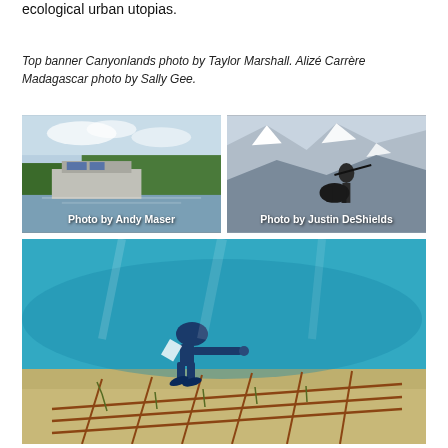ecological urban utopias.
Top banner Canyonlands photo by Taylor Marshall. Alizé Carrère Madagascar photo by Sally Gee.
[Figure (photo): Flooded building surrounded by water and trees, with caption 'Photo by Andy Maser']
[Figure (photo): Person with rifle against dramatic snow-capped mountain backdrop, with caption 'Photo by Justin DeShields']
[Figure (photo): Underwater photo of diver working on coral restoration grid on sandy ocean floor]